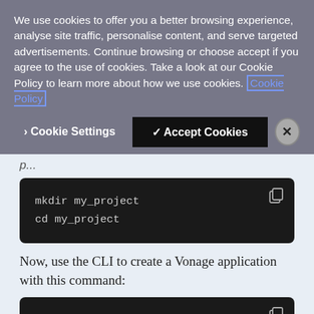We use cookies to offer you a better browsing experience, analyse site traffic, personalise content, and serve targeted advertisements. Continue browsing or choose accept if you agree to the use of cookies. Take a look at our Cookie Policy to learn more about how we use cookies. Cookie Policy
> Cookie Settings  ✓ Accept Cookies  ×
p...
mkdir my_project
cd my_project
Now, use the CLI to create a Vonage application with this command:
vonage apps:create
Scroll to Messages, click the